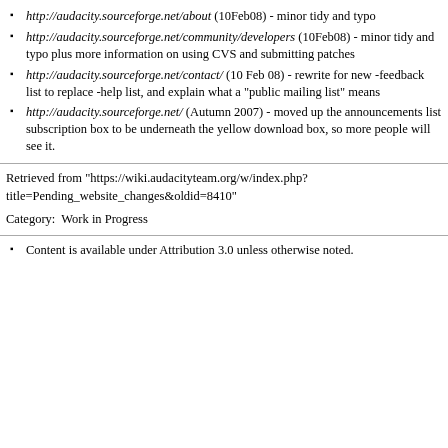http://audacity.sourceforge.net/about (10Feb08) - minor tidy and typo
http://audacity.sourceforge.net/community/developers (10Feb08) - minor tidy and typo plus more information on using CVS and submitting patches
http://audacity.sourceforge.net/contact/ (10 Feb 08) - rewrite for new -feedback list to replace -help list, and explain what a "public mailing list" means
http://audacity.sourceforge.net/ (Autumn 2007) - moved up the announcements list subscription box to be underneath the yellow download box, so more people will see it.
Retrieved from "https://wiki.audacityteam.org/w/index.php?title=Pending_website_changes&oldid=8410"
Category:  Work in Progress
Content is available under Attribution 3.0 unless otherwise noted.